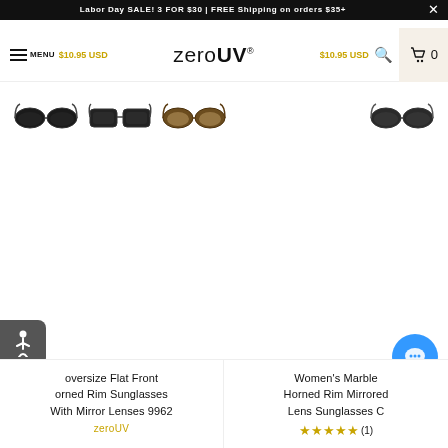Labor Day SALE! 3 FOR $30 | FREE Shipping on orders $35+
[Figure (screenshot): zeroUV website navigation bar with logo, menu, price labels $10.95 USD, search and cart icons]
[Figure (photo): Four thumbnail images of sunglasses variants: black round, dark grey square, tortoise round, and dark grey round]
oversize Flat Front orned Rim Sunglasses With Mirror Lenses 9962
zeroUV
Women's Marble Horned Rim Mirrored Lens Sunglasses C
★★★★★ (1)